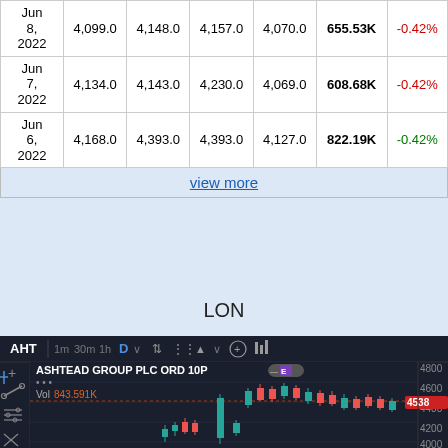| Date | Close | Open | High | Low | Volume | Change% |
| --- | --- | --- | --- | --- | --- | --- |
| Jun 8, 2022 | 4,099.0 | 4,148.0 | 4,157.0 | 4,070.0 | 655.53K | -0.42% |
| Jun 7, 2022 | 4,134.0 | 4,143.0 | 4,230.0 | 4,069.0 | 608.68K | -0.42% |
| Jun 6, 2022 | 4,168.0 | 4,393.0 | 4,393.0 | 4,127.0 | 822.19K | -0.42% |
view more
LON
[Figure (screenshot): TradingView candlestick chart for AHT (Ashtead Group PLC ORD 10P), showing candlestick price action with dark background, toolbar on left with drawing tools, timeframe buttons (1m, 30m, 1h, D), volume indicator Vol 843.591K, price levels 4000-4800 on right axis, current price tag 4538 in red.]